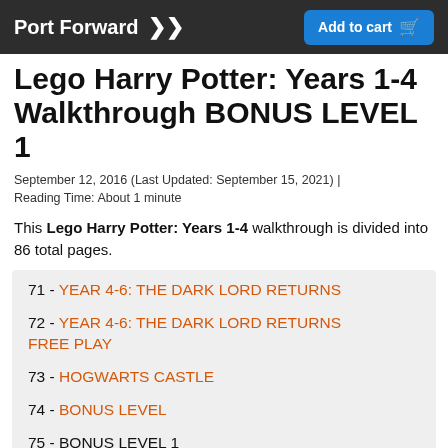Port Forward | Add to cart
Lego Harry Potter: Years 1-4 Walkthrough BONUS LEVEL 1
September 12, 2016 (Last Updated: September 15, 2021) | Reading Time: About 1 minute
This Lego Harry Potter: Years 1-4 walkthrough is divided into 86 total pages.
71 - YEAR 4-6: THE DARK LORD RETURNS
72 - YEAR 4-6: THE DARK LORD RETURNS FREE PLAY
73 - HOGWARTS CASTLE
74 - BONUS LEVEL
75 - BONUS LEVEL 1